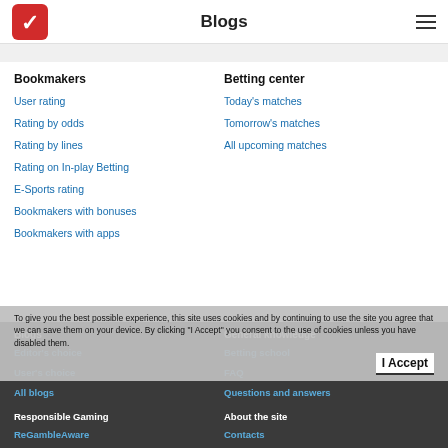Blogs
Bookmakers
User rating
Rating by odds
Rating by lines
Rating on In-play Betting
E-Sports rating
Bookmakers with bonuses
Bookmakers with apps
Betting center
Today's matches
Tomorrow's matches
All upcoming matches
Blogs
Editor's choice
User's choice
All blogs
General knowledge
Betting school
FAQ
Questions and answers
To give you the best possible experience, this site uses cookies and by continuing to use the site you agree that we can save them on your device. By clicking "I Accept" you consent to the use of cookies unless you have disabled them.
Responsible Gaming
ReGambleAware
About the site
Contacts